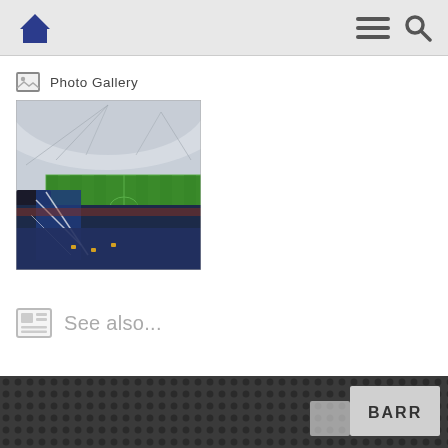Navigation bar with home icon, hamburger menu, and search icon
Photo Gallery
[Figure (photo): Interior view of a sports stadium with a large green pitch, crowds of spectators, large arched roof structure, and blue flags/banners in the foreground.]
See also...
[Figure (photo): Partial bottom strip showing a dark perforated surface and a partial sign reading 'BARR'.]